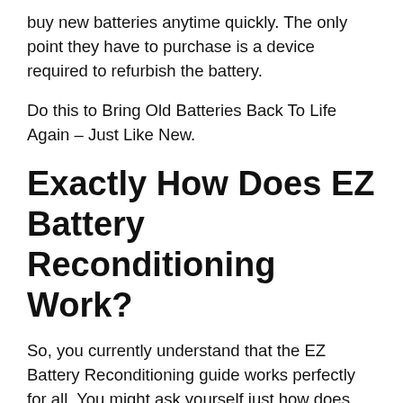buy new batteries anytime quickly. The only point they have to purchase is a device required to refurbish the battery.
Do this to Bring Old Batteries Back To Life Again – Just Like New.
Exactly How Does EZ Battery Reconditioning Work?
So, you currently understand that the EZ Battery Reconditioning guide works perfectly for all. You might ask yourself just how does recondition job! Well, it is not brain surgery.